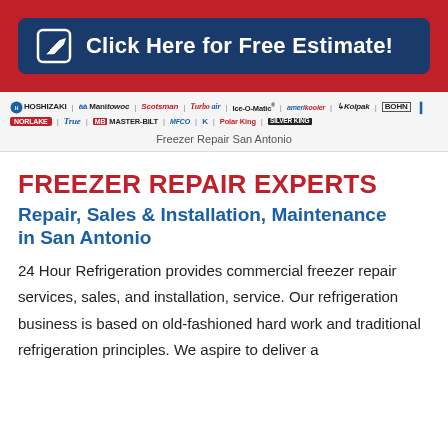[Figure (other): Blue button with edit/pencil icon and text 'Click Here for Free Estimate!' on a red banner background]
[Figure (other): Row of commercial refrigeration brand logos: Hoshizaki, Manitowoc, Scotsman, Turbo Air, Ice-O-Matic, Amerikooler, Kolpak, Bohn, Norlake, True, Master-Bilt, MFCO, K (Kysor), Polar King, Silver King]
Freezer Repair San Antonio
FREEZER REPAIR EXPERTS
Repair, Sales & Installation, Maintenance in San Antonio
24 Hour Refrigeration provides commercial freezer repair services, sales, and installation, service. Our refrigeration business is based on old-fashioned hard work and traditional refrigeration principles. We aspire to deliver a